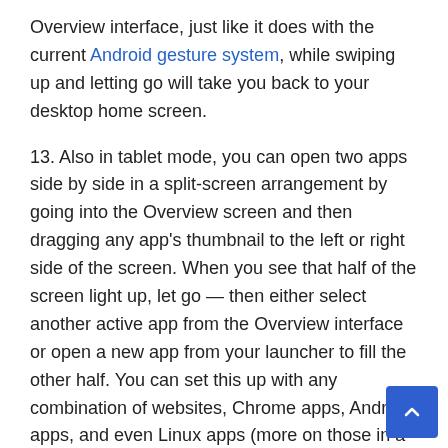Overview interface, just like it does with the current Android gesture system, while swiping up and letting go will take you back to your desktop home screen.
13. Also in tablet mode, you can open two apps side by side in a split-screen arrangement by going into the Overview screen and then dragging any app's thumbnail to the left or right side of the screen. When you see that half of the screen light up, let go — then either select another active app from the Overview interface or open a new app from your launcher to fill the other half. You can set this up with any combination of websites, Chrome apps, Android apps, and even Linux apps (more on those in a moment).